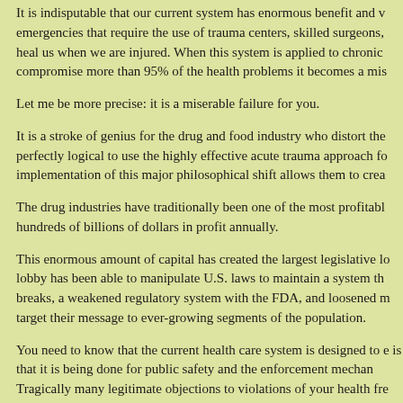It is indisputable that our current system has enormous benefit and v... emergencies that require the use of trauma centers, skilled surgeons, heal us when we are injured. When this system is applied to chronic compromise more than 95% of the health problems it becomes a mis...
Let me be more precise: it is a miserable failure for you.
It is a stroke of genius for the drug and food industry who distort the... perfectly logical to use the highly effective acute trauma approach fo... implementation of this major philosophical shift allows them to crea...
The drug industries have traditionally been one of the most profitabl... hundreds of billions of dollars in profit annually.
This enormous amount of capital has created the largest legislative lo... lobby has been able to manipulate U.S. laws to maintain a system th... breaks, a weakened regulatory system with the FDA, and loosened m... target their message to ever-growing segments of the population.
You need to know that the current health care system is designed to d... is that it is being done for public safety and the enforcement mechan... Tragically many legitimate objections to violations of your health fre... national security.